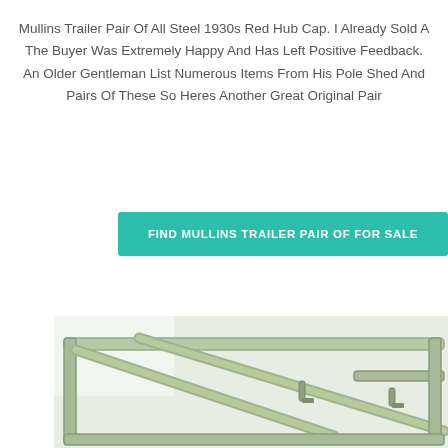Mullins Trailer Pair Of All Steel 1930s Red Hub Cap. I Already Sold A The Buyer Was Extremely Happy And Has Left Positive Feedback. An Older Gentleman List Numerous Items From His Pole Shed And Pairs Of These So Heres Another Great Original Pair
FIND MULLINS TRAILER PAIR OF FOR SALE
[Figure (photo): Photo of a vintage steel trailer frame, light green/pale color, showing the structural metal frame with diagonal and horizontal bars, partially cropped view.]